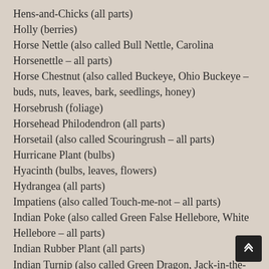Hens-and-Chicks (all parts)
Holly (berries)
Horse Nettle (also called Bull Nettle, Carolina Horsenettle – all parts)
Horse Chestnut (also called Buckeye, Ohio Buckeye – buds, nuts, leaves, bark, seedlings, honey)
Horsebrush (foliage)
Horsehead Philodendron (all parts)
Horsetail (also called Scouringrush – all parts)
Hurricane Plant (bulbs)
Hyacinth (bulbs, leaves, flowers)
Hydrangea (all parts)
Impatiens (also called Touch-me-not – all parts)
Indian Poke (also called Green False Hellebore, White Hellebore – all parts)
Indian Rubber Plant (all parts)
Indian Turnip (also called Green Dragon, Jack-in-the-Pulpit – leaves, stems, roots)
Inkberry (also called Pokeweed – all parts)